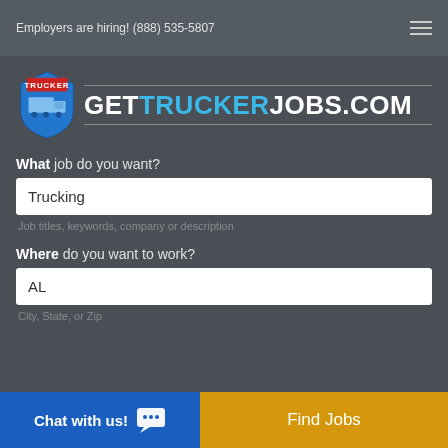Employers are hiring! (888) 535-5807
[Figure (logo): GetTruckerJobs.com logo with blue shield and truck icon]
What job do you want?
Trucking
Job titles, keywords, company or description
Where do you want to work?
AL
City, State, or Zip
Chat with us!
Find Jobs